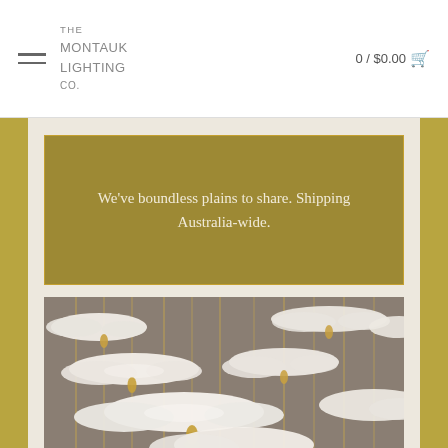THE MONTAUK LIGHTING CO. — 0 / $0.00
We've boundless plains to share. Shipping Australia-wide.
[Figure (photo): Close-up photograph of multiple white cloud-shaped pendant light fixtures hanging on thin brass rods against a grey-taupe background.]